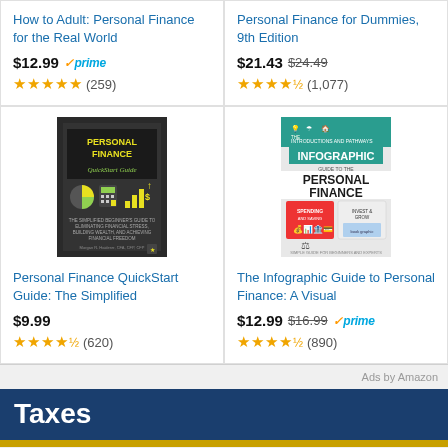How to Adult: Personal Finance for the Real World
$12.99 prime ★★★★★ (259)
Personal Finance for Dummies, 9th Edition
$21.43 $24.49 ★★★★½ (1,077)
[Figure (illustration): Book cover for Personal Finance QuickStart Guide - dark cover with yellow/green title text, financial icons including pie chart, calculator, bar chart]
Personal Finance QuickStart Guide: The Simplified
$9.99 ★★★★½ (620)
[Figure (illustration): Book cover for The Infographic Guide to Personal Finance - teal/white cover with large bold title text and financial infographic imagery]
The Infographic Guide to Personal Finance: A Visual
$12.99 $16.99 prime ★★★★½ (890)
Ads by Amazon
Taxes